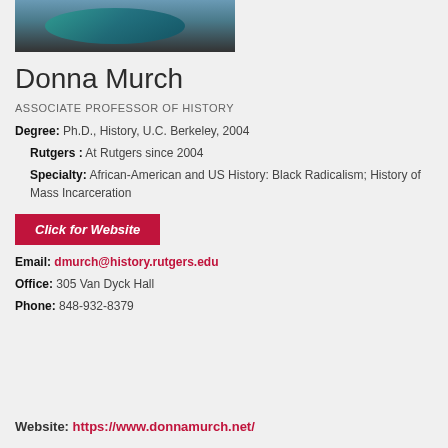[Figure (photo): Partial photo of Donna Murch, showing teal scarf, cropped at top of page]
Donna Murch
ASSOCIATE PROFESSOR OF HISTORY
Degree: Ph.D., History, U.C. Berkeley, 2004
Rutgers : At Rutgers since 2004
Specialty: African-American and US History: Black Radicalism; History of Mass Incarceration
Click for Website
Email: dmurch@history.rutgers.edu
Office: 305 Van Dyck Hall
Phone: 848-932-8379
Website: https://www.donnamurch.net/